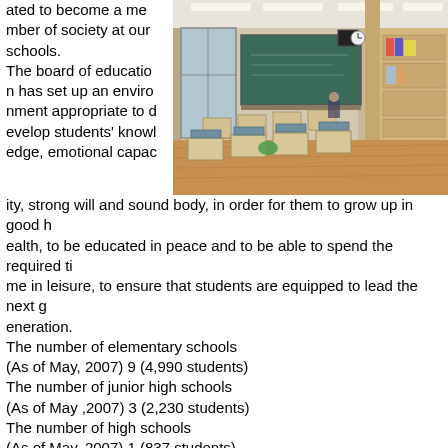ated to become a member of society at our schools. The board of education has set up an environment appropriate to develop students' knowledge, emotional capacity, strong will and sound body, in order for them to grow up in good health, to be educated in peace and to be able to spend the required time in leisure, to ensure that students are equipped to lead the next generation.
[Figure (photo): Interior of a Japanese elementary school classroom with wooden floors, desks and chairs, green chalkboard, bookshelves, and large windows.]
The number of elementary schools
(As of May, 2007) 9 (4,990 students)
The number of junior high schools
(As of May ,2007) 3 (2,230 students)
The number of high schools
(As of May, 2007) 1 (837 students)
The number of university and junior college (As of March, 2007) 2 (1,429 students)
Public library (As of March, 2007) Books □□□148,636 books